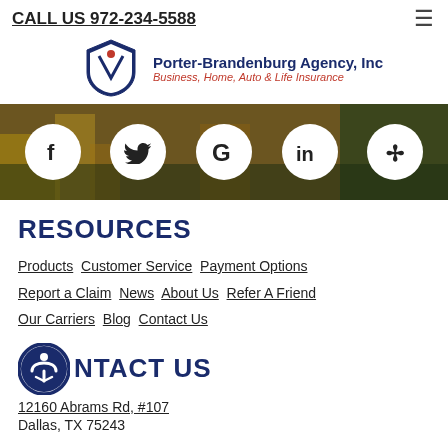CALL US 972-234-5588
[Figure (logo): Porter-Brandenburg Agency, Inc logo with shield icon. Tagline: Business, Home, Auto & Life Insurance]
[Figure (infographic): Social media icons row on city background: Facebook, Twitter, Google, LinkedIn, Yelp]
RESOURCES
Products  Customer Service  Payment Options  Report a Claim  News  About Us  Refer A Friend  Our Carriers  Blog  Contact Us
CONTACT US
12160 Abrams Rd, #107
Dallas, TX 75243